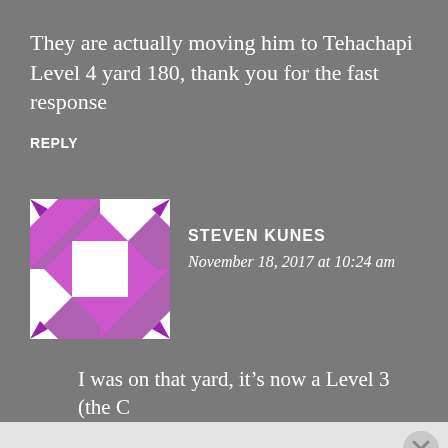They are actually moving him to Tehachapi Level 4 yard 180, thank you for the fast response
REPLY
[Figure (illustration): Purple and white geometric quilt-pattern avatar icon for user Steven Kunes]
STEVEN KUNES
November 18, 2017 at 10:24 am
I was on that yard, it's now a Level 3 (the C